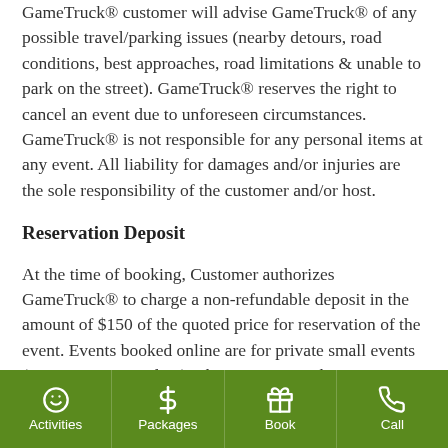GameTruck® customer will advise GameTruck® of any possible travel/parking issues (nearby detours, road conditions, best approaches, road limitations & unable to park on the street). GameTruck® reserves the right to cancel an event due to unforeseen circumstances. GameTruck® is not responsible for any personal items at any event. All liability for damages and/or injuries are the sole responsibility of the customer and/or host.
Reservation Deposit
At the time of booking, Customer authorizes GameTruck® to charge a non-refundable deposit in the amount of $150 of the quoted price for reservation of the event. Events booked online are for private small events (24 participants or less). These pricing packages
Activities | Packages | Book | Call